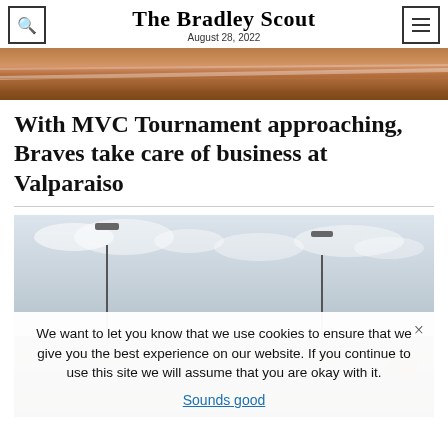The Bradley Scout — August 28, 2022
[Figure (photo): Close-up photo of a baseball bat, brown wood grain texture with a white stripe]
With MVC Tournament approaching, Braves take care of business at Valparaiso
[Figure (photo): Outdoor baseball/softball field with two tall light poles under a cloudy sky, with trees and a red building visible in the background]
We want to let you know that we use cookies to ensure that we give you the best experience on our website. If you continue to use this site we will assume that you are okay with it.
Sounds good